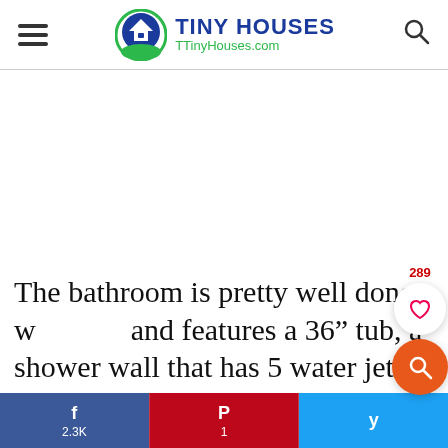TINY HOUSES — TinyHouses.com
The bathroom is pretty well done w... and features a 36” tub, a shower wall that has 5 water jet features, a large vanity that offers tons of storage, a
f 2.3K  |  p 1  |  t (Twitter share)